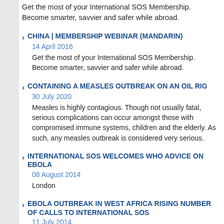Get the most of your International SOS Membership. Become smarter, savvier and safer while abroad.
CHINA | MEMBERSHIP WEBINAR (MANDARIN)
14 April 2016
Get the most of your International SOS Membership. Become smarter, savvier and safer while abroad.
CONTAINING A MEASLES OUTBREAK ON AN OIL RIG
30 July 2020
Measles is highly contagious. Though not usually fatal, serious complications can occur amongst those with compromised immune systems, children and the elderly. As such, any measles outbreak is considered very serious.
INTERNATIONAL SOS WELCOMES WHO ADVICE ON EBOLA
08 August 2014
London
EBOLA OUTBREAK IN WEST AFRICA RISING NUMBER OF CALLS TO INTERNATIONAL SOS
11 July 2014
London